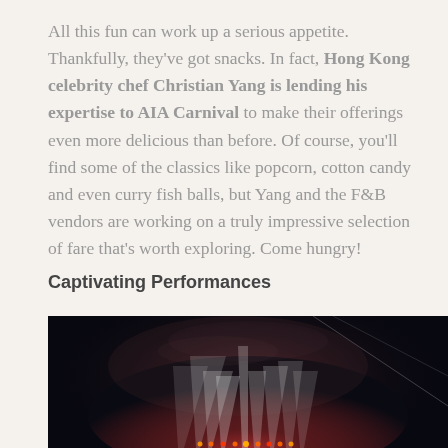All this fun can work up a serious appetite. Thankfully, they've got snacks. In fact, Hong Kong celebrity chef Christian Yang is lending his expertise to AIA Carnival to make their offerings even more delicious than before. Of course, you'll find some of the classics like popcorn, cotton candy and even curry fish balls, but Yang and the F&B vendors are working on a truly impressive selection of fare that's worth exploring. Come hungry!
Captivating Performances
[Figure (photo): Dark concert stage photo with dramatic red and white spotlights shining from below, atmospheric smoke/haze, dramatic lighting effects in a dark venue]